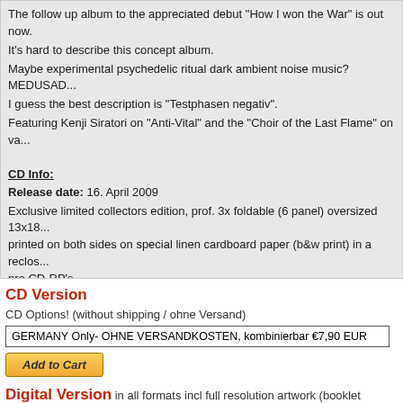The follow up album to the appreciated debut "How I won the War" is out now. It's hard to describe this concept album. Maybe experimental psychedelic ritual dark ambient noise music? MEDUSAD... I guess the best description is "Testphasen negativ". Featuring Kenji Siratori on "Anti-Vital" and the "Choir of the Last Flame" on va...
CD Info:
Release date: 16. April 2009
Exclusive limited collectors edition, prof. 3x foldable (6 panel) oversized 13x18... printed on both sides on special linen cardboard paper (b&w print) in a reclos... pro CD-RP's.
Artwork by R. Rabendorn
soundsample1 | soundsample2 | soundsample3 | soundsample4
-->Review (Engl. Heathen Harvest)
CD Version
CD Options! (without shipping / ohne Versand)
GERMANY Only- OHNE VERSANDKOSTEN, kombinierbar €7,90 EUR
Add to Cart
Digital Version in all formats incl full resolution artwork (booklet version)